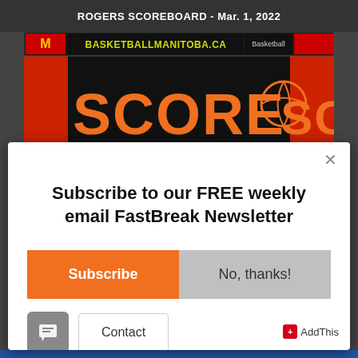ROGERS SCOREBOARD - Mar. 1, 2022
[Figure (photo): Basketball Manitoba scoreboard logo showing BASKETBALLMANITOBA.CA and SCORE text in orange on black background]
Subscribe to our FREE weekly email FastBreak Newsletter
Subscribe
No, thanks!
Contact
AddThis